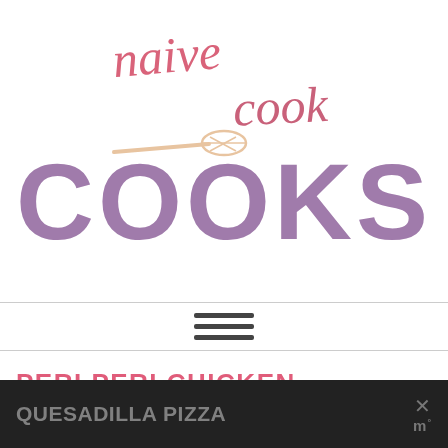[Figure (logo): Naive Cook Cooks logo with cursive pink 'naive cook' text, a whisk illustration, and large purple bold 'COOKS' text]
[Figure (other): Hamburger menu icon with three horizontal dark bars between two horizontal divider lines]
PERI PERI CHICKEN
QUESADILLA PIZZA